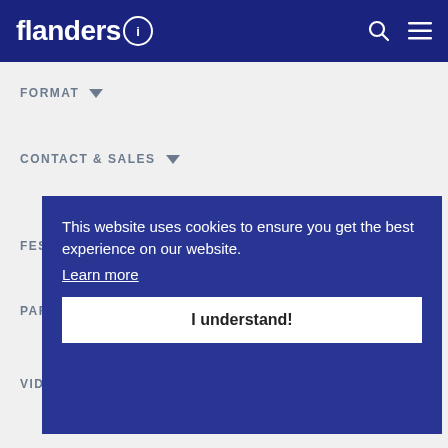flanders i
FORMAT
CONTACT & SALES
FESTIVALS & AWARDS
PARTN...
VIDEOS & IMAGES
This website uses cookies to ensure you get the best experience on our website.
Learn more
I understand!